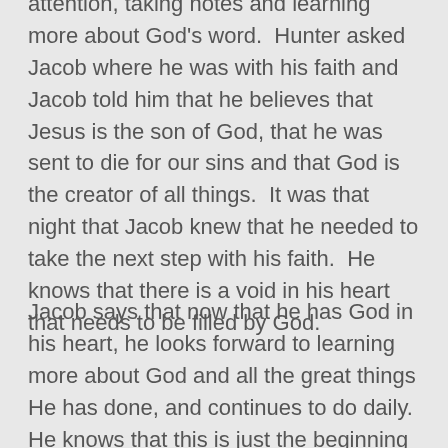attention, taking notes and learning more about God's word.  Hunter asked Jacob where he was with his faith and Jacob told him that he believes that Jesus is the son of God, that he was sent to die for our sins and that God is the creator of all things.  It was that night that Jacob knew that he needed to take the next step with his faith.  He knows that there is a void in his heart that needs to be filled by God.
Jacob says that now that he has God in his heart, he looks forward to learning more about God and all the great things He has done, and continues to do daily.  He knows that this is just the beginning of his